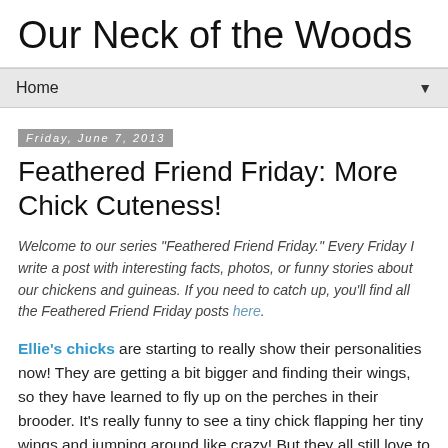Our Neck of the Woods
Home ▼
Friday, June 7, 2013
Feathered Friend Friday: More Chick Cuteness!
Welcome to our series "Feathered Friend Friday." Every Friday I write a post with interesting facts, photos, or funny stories about our chickens and guineas. If you need to catch up, you'll find all the Feathered Friend Friday posts here.
Ellie's chicks are starting to really show their personalities now! They are getting a bit bigger and finding their wings, so they have learned to fly up on the perches in their brooder. It's really funny to see a tiny chick flapping her tiny wings and jumping around like crazy! But they all still love to be close to